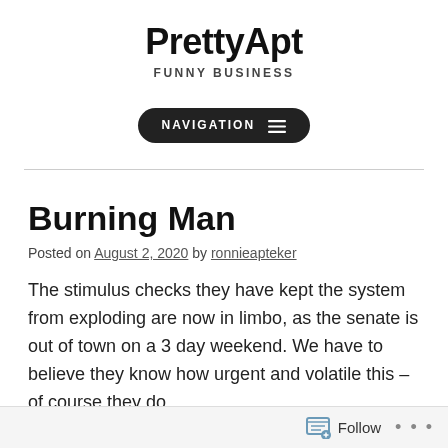PrettyApt
FUNNY BUSINESS
[Figure (other): Navigation button with hamburger menu icon, dark rounded pill shape with white text reading NAVIGATION and three horizontal lines]
Burning Man
Posted on August 2, 2020 by ronnieapteker
The stimulus checks they have kept the system from exploding are now in limbo, as the senate is out of town on a 3 day weekend. We have to believe they know how urgent and volatile this – of course they do.
Follow ...